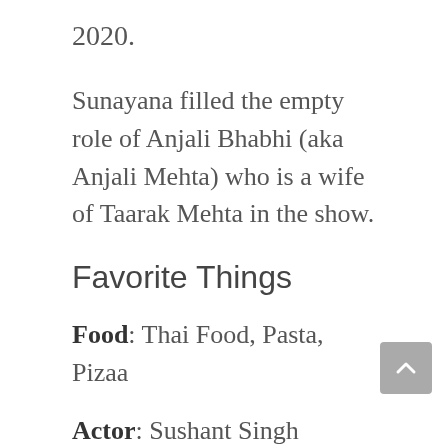2020.
Sunayana filled the empty role of Anjali Bhabhi (aka Anjali Mehta) who is a wife of Taarak Mehta in the show.
Favorite Things
Food: Thai Food, Pasta, Pizaa
Actor: Sushant Singh Rajput, Amitabh Bachchan
Actress: Sridevi
Destination: India